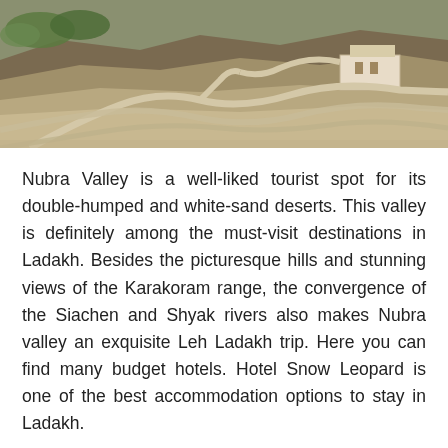[Figure (photo): Aerial view of winding mountain roads in Nubra Valley, Ladakh, showing switchback roads carved into barren hillsides with some green vegetation and buildings visible.]
Nubra Valley is a well-liked tourist spot for its double-humped and white-sand deserts. This valley is definitely among the must-visit destinations in Ladakh. Besides the picturesque hills and stunning views of the Karakoram range, the convergence of the Siachen and Shyak rivers also makes Nubra valley an exquisite Leh Ladakh trip. Here you can find many budget hotels. Hotel Snow Leopard is one of the best accommodation options to stay in Ladakh.
9. Namgyal Tsemo Monastery
[Figure (photo): Partial view of Namgyal Tsemo Monastery against a blue sky with mountains in background.]
Call Now